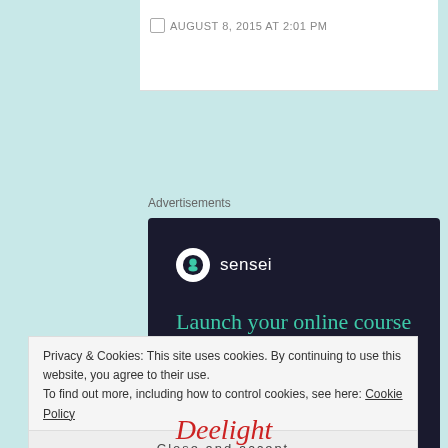AUGUST 8, 2015 AT 2:01 PM
Advertisements
[Figure (logo): Sensei advertisement: 'Launch your online course with WordPress' with a Learn More button on dark background]
Privacy & Cookies: This site uses cookies. By continuing to use this website, you agree to their use.
To find out more, including how to control cookies, see here: Cookie Policy
Close and accept
Deelight